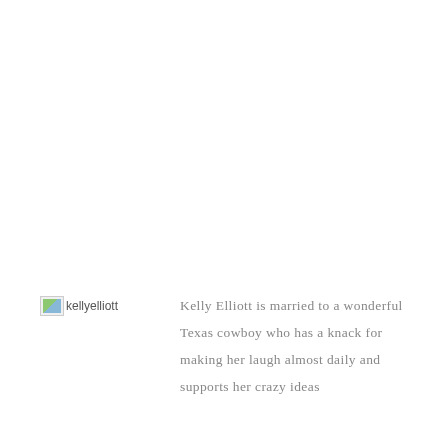[Figure (photo): Broken/placeholder image for kellyelliott author photo with alt text 'kellyelliott']
Kelly Elliott is married to a wonderful Texas cowboy who has a knack for making her laugh almost daily and supports her crazy ideas